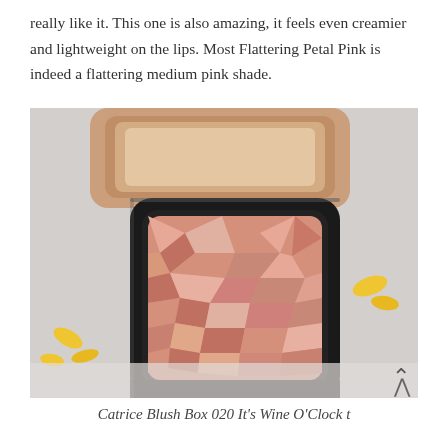really like it. This one is also amazing, it feels even creamier and lightweight on the lips. Most Flattering Petal Pink is indeed a flattering medium pink shade.
[Figure (photo): A close-up photo of an open blush compact with a geometric faceted pink powder pan in a black case, placed on a white marble surface with yellow petals in the background. The compact lid is open showing a mirror.]
Catrice Blush Box 020 It's Wine O'Clock t